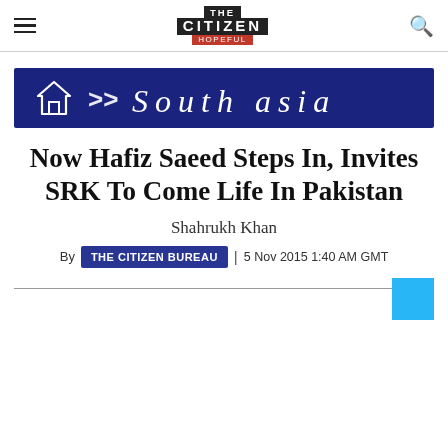THE CITIZEN IS HOPEFUL
[Figure (other): South Asia navigation banner with dark blue background, home icon, >> arrows, and 'South asia' text in italic serif font]
Now Hafiz Saeed Steps In, Invites SRK To Come Life In Pakistan
Shahrukh Khan
By THE CITIZEN BUREAU | 5 Nov 2015 1:40 AM GMT